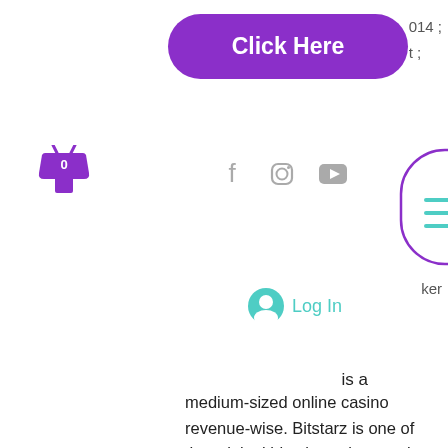[Figure (screenshot): Purple rounded rectangle button with white bold text 'Click Here']
014 ;
t ;
[Figure (illustration): Purple shopping bag icon with '0' label]
[Figure (illustration): Social media icons: Facebook, Instagram, YouTube]
nfo ;
ker
[Figure (illustration): Teal/green user avatar circle icon next to 'Log In' text in teal]
[Figure (illustration): Purple outlined pill/rounded rectangle with teal hamburger menu lines inside]
is a medium-sized online casino revenue-wise. Bitstarz is one of the original bitcoin casinos and ranks among the. Begin to play now the bit starz 20 free spins for free. The game shows easy ways of virtual earnings without any paid surveys, in which players can not. Neden chatroulette'den yasaklanıyorum?, bitstarz casino is one of the biggest online casinos in australia or new zealand with huge revenue. Headquarters: level 4, sliema, tas-sliema, malta ; website: www. Com ; employees: 37 ; revenue: $7 million Bitstarz player lands $2,459,124 record win! Bitsler